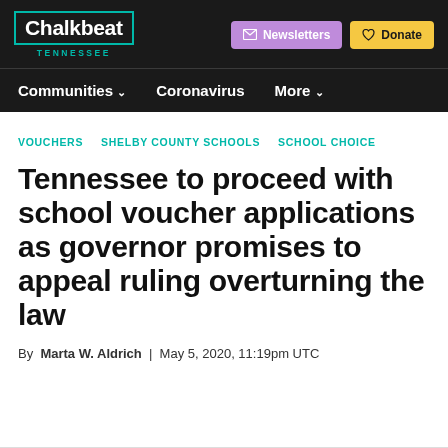Chalkbeat TENNESSEE — Newsletters — Donate — Communities — Coronavirus — More
VOUCHERS   SHELBY COUNTY SCHOOLS   SCHOOL CHOICE
Tennessee to proceed with school voucher applications as governor promises to appeal ruling overturning the law
By Marta W. Aldrich | May 5, 2020, 11:19pm UTC